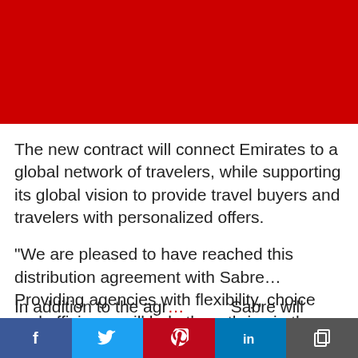[Figure (photo): Red banner image at the top of the page]
The new contract will connect Emirates to a global network of travelers, while supporting its global vision to provide travel buyers and travelers with personalized offers.
“We are pleased to have reached this distribution agreement with Sabre… Providing agencies with flexibility, choice and efficiency will help them thrive in the current climate while it will help us drive revenue and growth,” Emirates Chief Commercial Officer Adnan Kazim said.
In addition to the agreement, Sabre will
Facebook | Twitter | Pinterest | LinkedIn | Copy